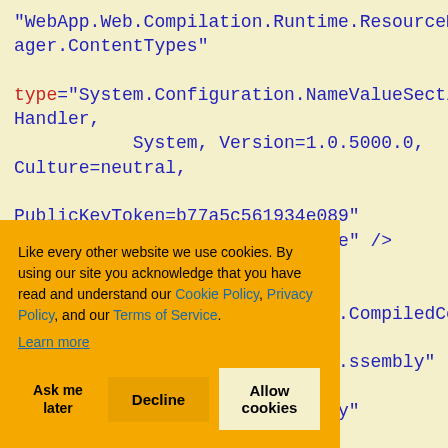"WebApp.Web.Compilation.Runtime.ResourceManager.ContentTypes"

type="System.Configuration.NameValueSectionHandler,
            System, Version=1.0.5000.0, Culture=neutral,

PublicKeyToken=b77a5c561934e089"
          allowLocation="false" />
    </configSections>

.CompiledCon

.assembly"

y"

.ledPages"

.ls"
[Figure (screenshot): Cookie consent banner with orange background. Text reads: 'Like every other website we use cookies. By using our site you acknowledge that you have read and understand our Cookie Policy, Privacy Policy, and our Terms of Service. Learn more'. Three buttons: 'Ask me later', 'Decline', 'Allow cookies'.]